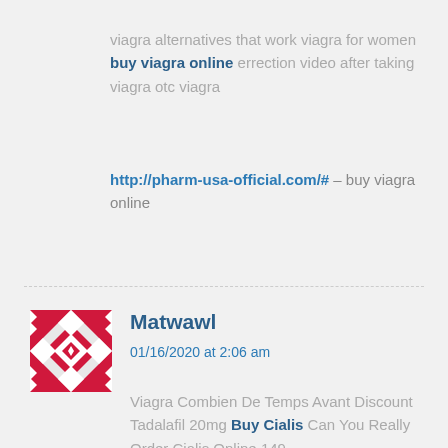viagra alternatives that work viagra for women buy viagra online errection video after taking viagra otc viagra
http://pharm-usa-official.com/# – buy viagra online
Matwawl
01/16/2020 at 2:06 am
Viagra Combien De Temps Avant Discount Tadalafil 20mg Buy Cialis Can You Really Order Cialis Online 149